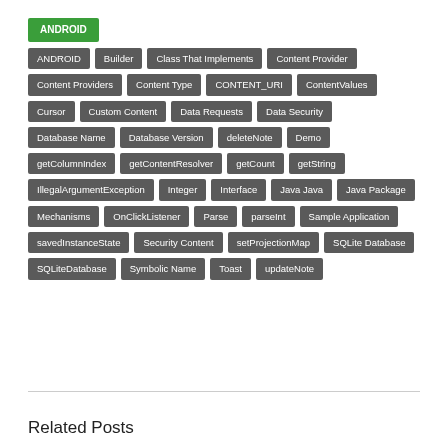ANDROID
ANDROID, Builder, Class That Implements, Content Provider, Content Providers, Content Type, CONTENT_URI, ContentValues, Cursor, Custom Content, Data Requests, Data Security, Database Name, Database Version, deleteNote, Demo, getColumnIndex, getContentResolver, getCount, getString, IllegalArgumentException, Integer, Interface, Java Java, Java Package, Mechanisms, OnClickListener, Parse, parseInt, Sample Application, savedInstanceState, Security Content, setProjectionMap, SQLite Database, SQLiteDatabase, Symbolic Name, Toast, updateNote
Related Posts